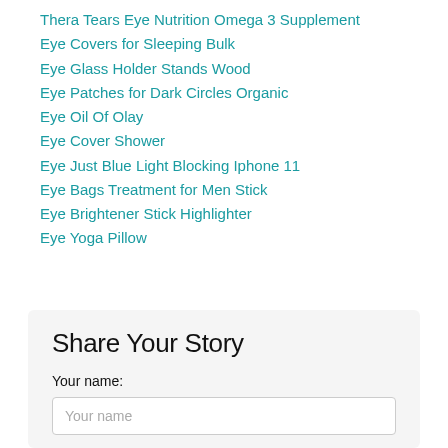Thera Tears Eye Nutrition Omega 3 Supplement
Eye Covers for Sleeping Bulk
Eye Glass Holder Stands Wood
Eye Patches for Dark Circles Organic
Eye Oil Of Olay
Eye Cover Shower
Eye Just Blue Light Blocking Iphone 11
Eye Bags Treatment for Men Stick
Eye Brightener Stick Highlighter
Eye Yoga Pillow
Share Your Story
Your name:
Your name